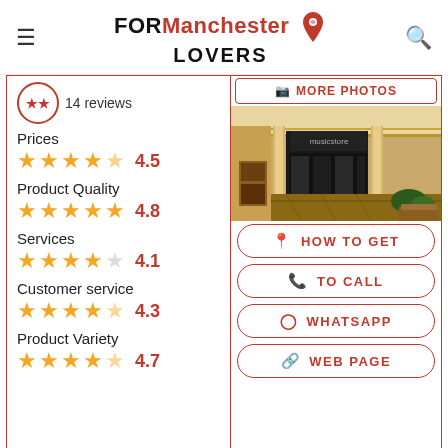FOR Manchester LOVERS
14 reviews
MORE PHOTOS
Prices 4.5
Product Quality 4.8
Services 4.1
Customer service 4.3
Product Variety 4.7
[Figure (photo): Interior of a music store in a shopping mall with ornate architecture]
HOW TO GET
TO CALL
WHATSAPP
WEB PAGE